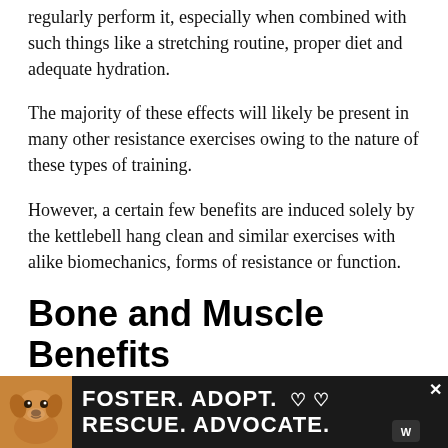regularly perform it, especially when combined with such things like a stretching routine, proper diet and adequate hydration.
The majority of these effects will likely be present in many other resistance exercises owing to the nature of these types of training.
However, a certain few benefits are induced solely by the kettlebell hang clean and similar exercises with alike biomechanics, forms of resistance or function.
Bone and Muscle Benefits
As is the nature for many resistance exercises, inc…ellbeing ch… …only will
[Figure (other): Advertisement banner: dog image on left, text reading FOSTER. ADOPT. ♡ ♡ / RESCUE. ADVOCATE. on dark background, with close button and logo on right.]